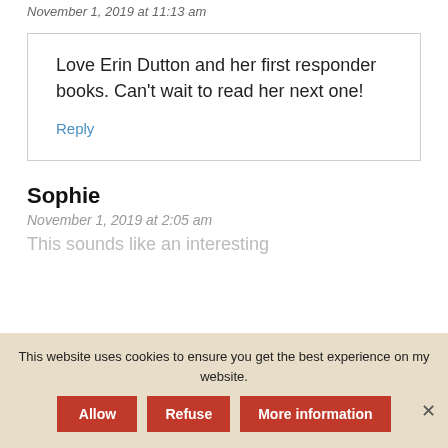November 1, 2019 at 11:13 am
Love Erin Dutton and her first responder books. Can't wait to read her next one!
Reply
Sophie
November 1, 2019 at 2:05 am
This sounds like an interesting
This website uses cookies to ensure you get the best experience on my website.
Allow
Refuse
More information